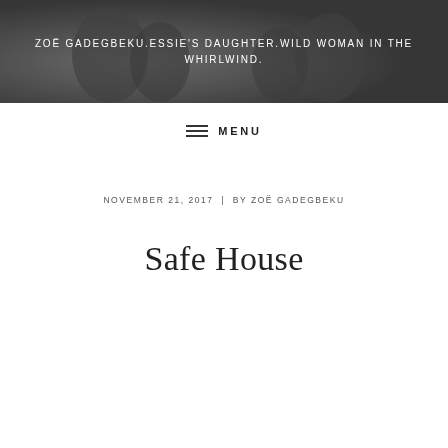[Figure (photo): Grayscale header photo showing two smiling women, used as a banner background image with dark overlay]
ZOË GADEGBEKU.ESSIE'S DAUGHTER.WILD WOMAN IN THE WHIRLWIND.
MENU
NOVEMBER 21, 2017  |  BY ZOË GADEGBEKU
Safe House